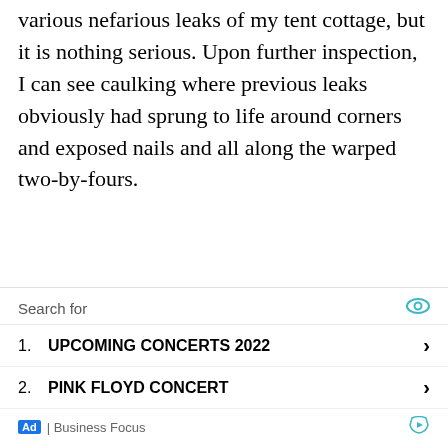various nefarious leaks of my tent cottage, but it is nothing serious. Upon further inspection, I can see caulking where previous leaks obviously had sprung to life around corners and exposed nails and all along the warped two-by-fours.
After spending the day bathed in bug spray, I hiked down the 108 to the communal showers behind registration. Two things about the showers here at Maho: number one, they are cold, and number two, you don't just turn
Search for
1. UPCOMING CONCERTS 2022
2. PINK FLOYD CONCERT
Ad | Business Focus